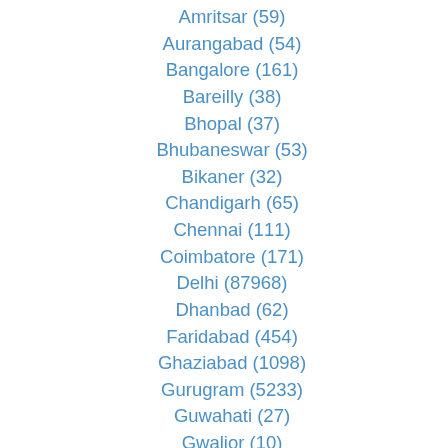Amritsar (59)
Aurangabad (54)
Bangalore (161)
Bareilly (38)
Bhopal (37)
Bhubaneswar (53)
Bikaner (32)
Chandigarh (65)
Chennai (111)
Coimbatore (171)
Delhi (87968)
Dhanbad (62)
Faridabad (454)
Ghaziabad (1098)
Gurugram (5233)
Guwahati (27)
Gwalior (10)
Howrah (6)
Hyderabad (115)
Indore (39)
Jabalpur (5)